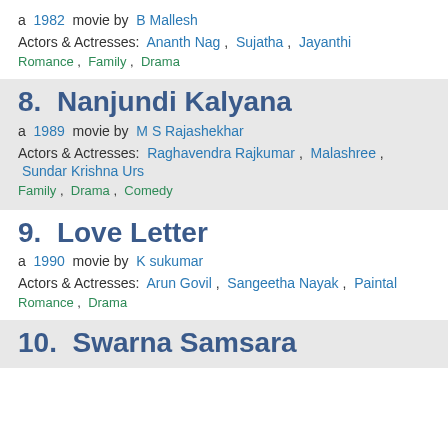a  1982  movie by  B Mallesh
Actors & Actresses:  Ananth Nag ,  Sujatha ,  Jayanthi
Romance ,  Family ,  Drama
8.  Nanjundi Kalyana
a  1989  movie by  M S Rajashekhar
Actors & Actresses:  Raghavendra Rajkumar ,  Malashree ,  Sundar Krishna Urs
Family ,  Drama ,  Comedy
9.  Love Letter
a  1990  movie by  K sukumar
Actors & Actresses:  Arun Govil ,  Sangeetha Nayak ,  Paintal
Romance ,  Drama
10.  Swarna Samsara